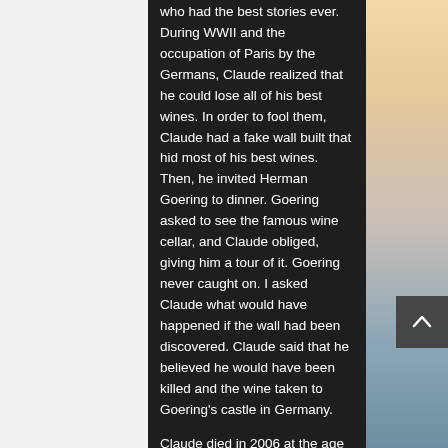who had the best stories ever. During WWII and the occupation of Paris by the Germans, Claude realized that he could lose all of his best wines. In order to fool them, Claude had a fake wall built that hid most of his best wines. Then, he invited Herman Goering to dinner. Goering asked to see the famous wine cellar, and Claude obliged, giving him a tour of it. Goering never caught on. I asked Claude what would have happened if the wall had been discovered. Claude said that he believed he would have been killed and the wine taken to Goering's castle in Germany.
Claude died in 2006 at the age of 88. The restaurant is now run by Claude's son, Andre.